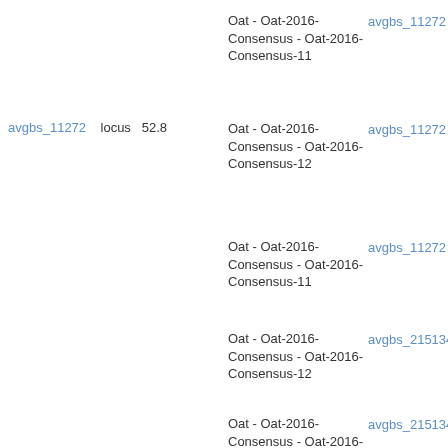Oat - Oat-2016-Consensus - Oat-2016-Consensus-11
avgbs_11272
avgbs_11272   locus   52.8
Oat - Oat-2016-Consensus - Oat-2016-Consensus-12
avgbs_11272
Oat - Oat-2016-Consensus - Oat-2016-Consensus-11
avgbs_11272
Oat - Oat-2016-Consensus - Oat-2016-Consensus-12
avgbs_215134
Oat - Oat-2016-Consensus - Oat-2016-Consensus-
avgbs_215134